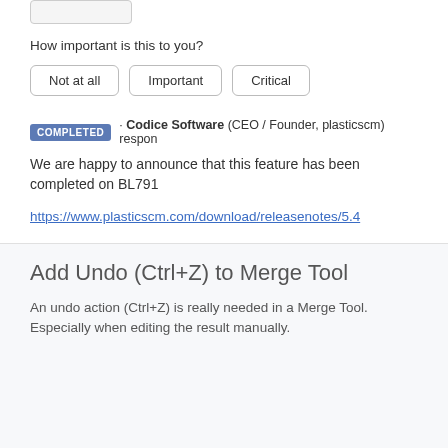[Figure (other): Vote button box (partially visible at top)]
How important is this to you?
Not at all   Important   Critical
COMPLETED · Codice Software (CEO / Founder, plasticscm) respon...
We are happy to announce that this feature has been completed on BL791
https://www.plasticscm.com/download/releasenotes/5.4...
Add Undo (Ctrl+Z) to Merge Tool
An undo action (Ctrl+Z) is really needed in a Merge Tool. Especially when editing the result manually.